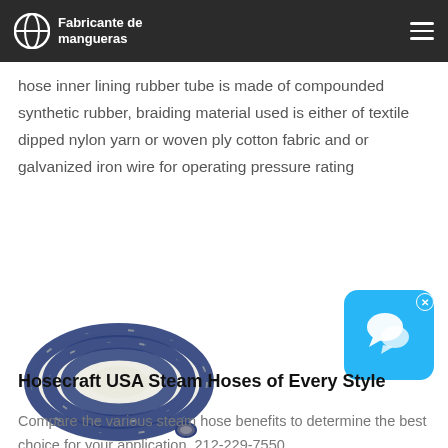Fabricante de mangueras
hose inner lining rubber tube is made of compounded synthetic rubber, braiding material used is either of textile dipped nylon yarn or woven ply cotton fabric and or galvanized iron wire for operating pressure rating
[Figure (photo): Coiled blue industrial steam hose]
Hosecraft USA Steam Hoses of Every Style
Compare the various steam hose benefits to determine the best choice for your application. 212-229-7550